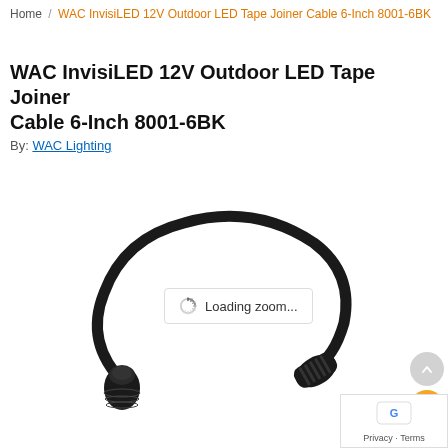Home / WAC InvisiLED 12V Outdoor LED Tape Joiner Cable 6-Inch 8001-6BK
WAC InvisiLED 12V Outdoor LED Tape Joiner Cable 6-Inch 8001-6BK
By: WAC Lighting
[Figure (photo): Product photo of WAC InvisiLED 12V Outdoor LED Tape Joiner Cable 6-Inch 8001-6BK. Shows a black cable with two connector ends — one barrel connector on each end, with the cable looping around. A 'Loading zoom...' overlay appears in the center of the image.]